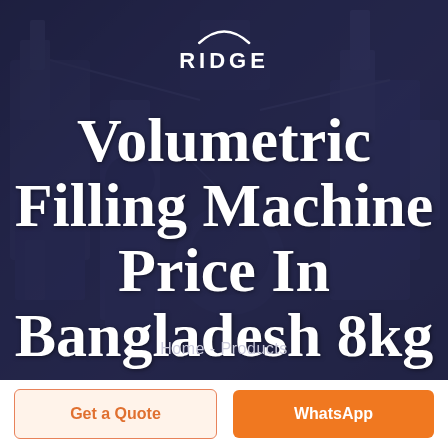[Figure (photo): Industrial filling machine equipment in a dark blue-tinted background with RIDGE logo and arc symbol at top center]
Volumetric Filling Machine Price In Bangladesh 8kg
Home - Products
Get a Quote
WhatsApp